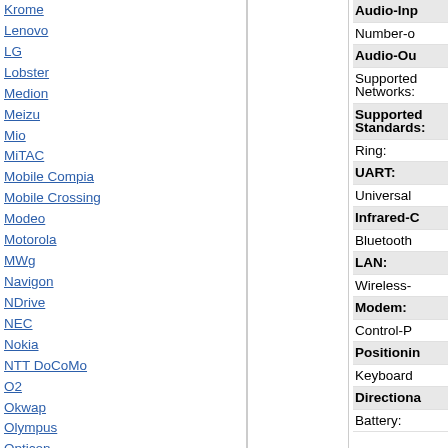Krome
Lenovo
LG
Lobster
Medion
Meizu
Mio
MiTAC
Mobile Compia
Mobile Crossing
Modeo
Motorola
MWg
Navigon
NDrive
NEC
Nokia
NTT DoCoMo
O2
Okwap
Olympus
Opticon
Orange
ORSiO
Palm
Pharos
Psion Teklogix
Qool
Qtek
RIM
RoverPC
RoyalTek
Sagem
Samsung
Saturn
Audio-Inp
Number-o
Audio-Ou
Supported Networks:
Supported Standards:
Ring:
UART:
Universal
Infrared-C
Bluetooth
LAN:
Wireless-
Modem:
Control-P
Positionin
Keyboard
Directiona
Battery: